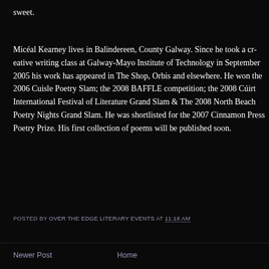sweet.
Micéal Kearney lives in Balindereen, County Galway. Since he took a creative writing class at Galway-Mayo Institute of Technology in September 2005 his work has appeared in The Shop, Orbis and elsewhere. He won the 2006 Cuisle Poetry Slam; the 2008 BAFFLE competition; the 2008 Cúirt International Festival of Literature Grand Slam & The 2008 North Beach Poetry Nights Grand Slam. He was shortlisted for the 2007 Cinnamon Press Poetry Prize. His first collection of poems will be published soon.
POSTED BY OVER THE EDGE LITERARY EVENTS AT 11:18 AM
Newer Post
Home
View mobile version